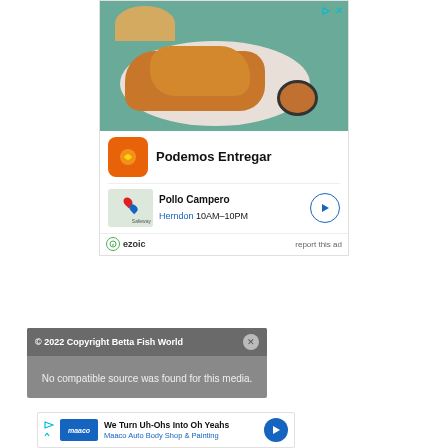[Figure (photo): Advertisement photo showing fried chicken nuggets on a white plate with dipping sauce, bread rolls in background. Pollo Campero ad with logo showing 'Podemos Entregar', location map showing Herndon 10AM-10PM, ezoic badge, and 'report this ad' link.]
© 2022 Copyright Betta Fish World
No compatible source was found for this media.
[Figure (photo): Maaco Auto Body Shop & Painting advertisement: 'We Turn Uh-Ohs Into Oh Yeahs' with Maaco logo and navigation arrow button.]